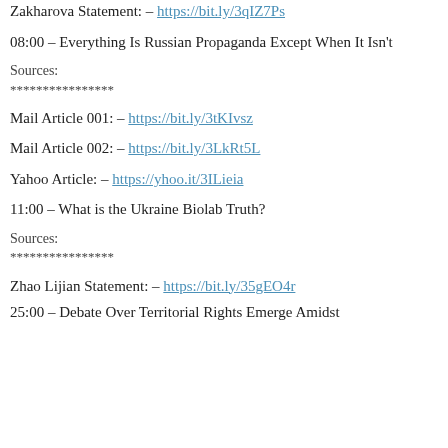Zakharova Statement: – https://bit.ly/3qIZ7Ps
08:00 – Everything Is Russian Propaganda Except When It Isn't
Sources:
****************
Mail Article 001: – https://bit.ly/3tKIvsz
Mail Article 002: – https://bit.ly/3LkRt5L
Yahoo Article: – https://yhoo.it/3ILieia
11:00 – What is the Ukraine Biolab Truth?
Sources:
****************
Zhao Lijian Statement: – https://bit.ly/35gEO4r
25:00 – Debate Over Territorial Rights Emerge Amidst